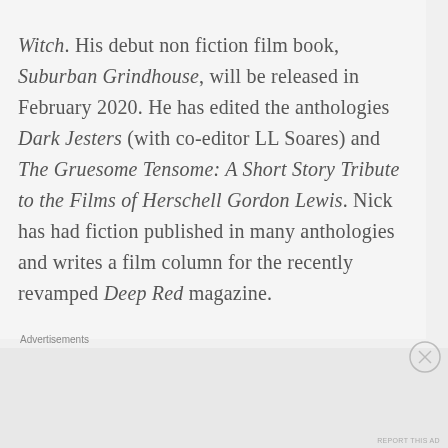Witch. His debut non fiction film book, Suburban Grindhouse, will be released in February 2020. He has edited the anthologies Dark Jesters (with co-editor LL Soares) and The Gruesome Tensome: A Short Story Tribute to the Films of Herschell Gordon Lewis. Nick has had fiction published in many anthologies and writes a film column for the recently revamped Deep Red magazine.
Advertisements